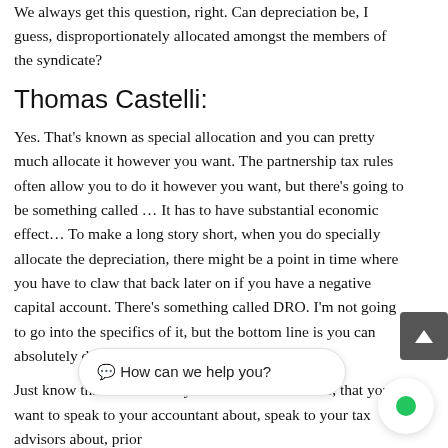We always get this question, right. Can depreciation be, I guess, disproportionately allocated amongst the members of the syndicate?
Thomas Castelli:
Yes. That's known as special allocation and you can pretty much allocate it however you want. The partnership tax rules often allow you to do it however you want, but there's going to be something called … It has to have substantial economic effect… To make a long story short, when you do specially allocate the depreciation, there might be a point in time where you have to claw that back later on if you have a negative capital account. There's something called DRO. I'm not going to go into the specifics of it, but the bottom line is you can absolutely do that.
Just know that th… ns that you need to be aware of, that you want to speak to your accountant about, speak to your tax advisors about, prior